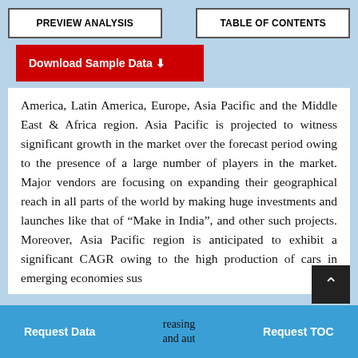PREVIEW ANALYSIS | TABLE OF CONTENTS
Download Sample Data
America, Latin America, Europe, Asia Pacific and the Middle East & Africa region. Asia Pacific is projected to witness significant growth in the market over the forecast period owing to the presence of a large number of players in the market. Major vendors are focusing on expanding their geographical reach in all parts of the world by making huge investments and launches like that of “Make in India”, and other such projects. Moreover, Asia Pacific region is anticipated to exhibit a significant CAGR owing to the high production of cars in emerging economies su...reasing...and aut...
Request Data | reasing...and aut... | Request TOC